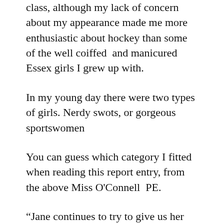class, although my lack of concern about my appearance made me more enthusiastic about hockey than some of the well coiffed  and manicured Essex girls I grew up with.
In my young day there were two types of girls. Nerdy swots, or gorgeous sportswomen
You can guess which category I fitted when reading this report entry, from the above Miss O'Connell  PE.
“Jane continues to try to give us her best, but PE is not her strongest subject area”
I followed up the crying on runs with throwing up during a time trial in a biology class about